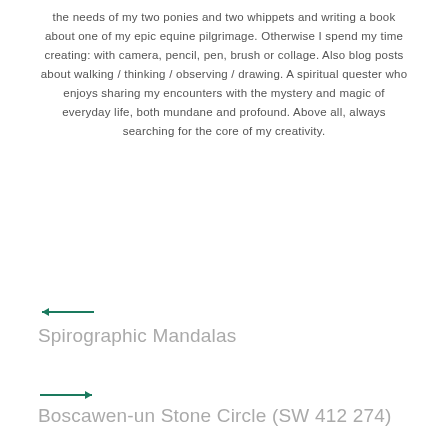the needs of my two ponies and two whippets and writing a book about one of my epic equine pilgrimage. Otherwise I spend my time creating: with camera, pencil, pen, brush or collage. Also blog posts about walking / thinking / observing / drawing. A spiritual quester who enjoys sharing my encounters with the mystery and magic of everyday life, both mundane and profound. Above all, always searching for the core of my creativity.
[Figure (other): Left-pointing arrow in dark teal/green color]
Spirographic Mandalas
[Figure (other): Right-pointing arrow in dark teal/green color]
Boscawen-un Stone Circle (SW 412 274)